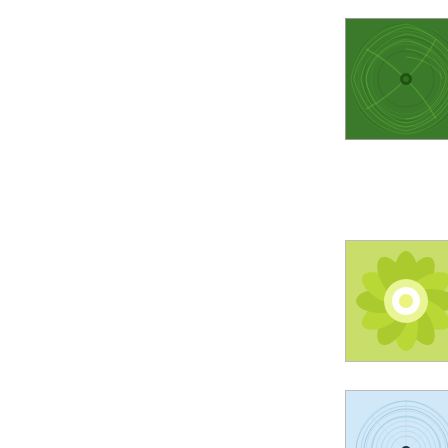[Figure (illustration): Green spiral/mandala avatar image, dark green swirl pattern]
I love this and elega and saw t out a bun be enjoyin
Posted at 01:4
[Figure (illustration): Yellow-green flower/starburst mandala avatar image on pale yellow-green background]
I'm a little thank you.
Posted 02:21 A
[Figure (illustration): Light blue circular spirograph/mandala avatar image with dark center dot]
wow! arn' for both m would hel you rock